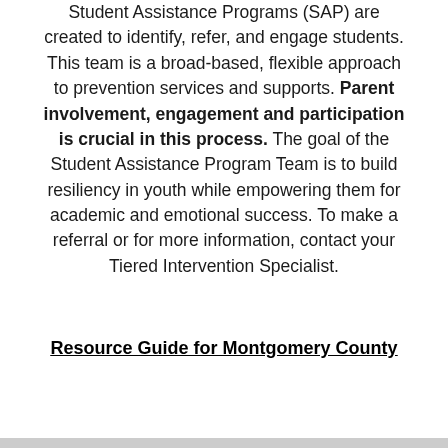Student Assistance Programs (SAP) are created to identify, refer, and engage students. This team is a broad-based, flexible approach to prevention services and supports. Parent involvement, engagement and participation is crucial in this process. The goal of the Student Assistance Program Team is to build resiliency in youth while empowering them for academic and emotional success. To make a referral or for more information, contact your Tiered Intervention Specialist.
Resource Guide for Montgomery County